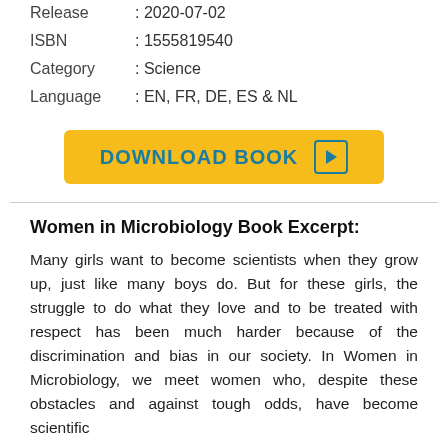Release : 2020-07-02
ISBN : 1555819540
Category : Science
Language : EN, FR, DE, ES & NL
[Figure (other): Yellow download button with text DOWNLOAD BOOK and a play icon]
Women in Microbiology Book Excerpt:
Many girls want to become scientists when they grow up, just like many boys do. But for these girls, the struggle to do what they love and to be treated with respect has been much harder because of the discrimination and bias in our society. In Women in Microbiology, we meet women who, despite these obstacles and against tough odds, have become scientific